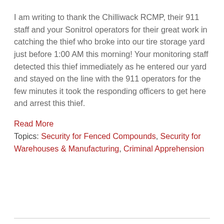I am writing to thank the Chilliwack RCMP, their 911 staff and your Sonitrol operators for their great work in catching the thief who broke into our tire storage yard just before 1:00 AM this morning! Your monitoring staff detected this thief immediately as he entered our yard and stayed on the line with the 911 operators for the few minutes it took the responding officers to get here and arrest this thief.
Read More
Topics: Security for Fenced Compounds, Security for Warehouses & Manufacturing, Criminal Apprehension